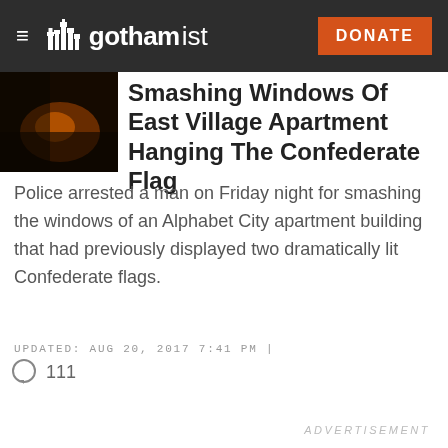gothamist | DONATE
[Figure (photo): Dark thumbnail image of apartment interior with orange/red lighting]
Smashing Windows Of East Village Apartment Hanging The Confederate Flag
Police arrested a man on Friday night for smashing the windows of an Alphabet City apartment building that had previously displayed two dramatically lit Confederate flags.
UPDATED:  AUG 20, 2017 7:41 PM |
111
ADVERTISEMENT